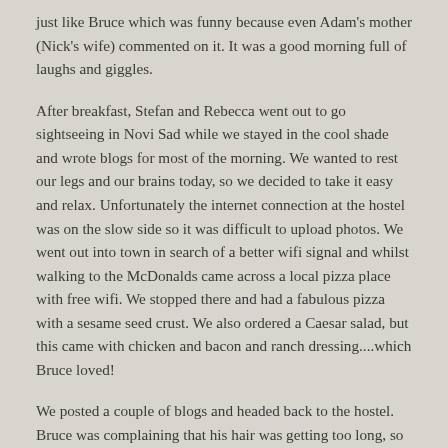just like Bruce which was funny because even Adam's mother (Nick's wife) commented on it. It was a good morning full of laughs and giggles.
After breakfast, Stefan and Rebecca went out to go sightseeing in Novi Sad while we stayed in the cool shade and wrote blogs for most of the morning. We wanted to rest our legs and our brains today, so we decided to take it easy and relax. Unfortunately the internet connection at the hostel was on the slow side so it was difficult to upload photos. We went out into town in search of a better wifi signal and whilst walking to the McDonalds came across a local pizza place with free wifi. We stopped there and had a fabulous pizza with a sesame seed crust. We also ordered a Caesar salad, but this came with chicken and bacon and ranch dressing....which Bruce loved!
We posted a couple of blogs and headed back to the hostel. Bruce was complaining that his hair was getting too long, so Andrea trimmed a little bit all around, which was a little disconcerting for Bruce, but it worked out well all round!
As we were writing the next round of blogs the daughter of the hostel